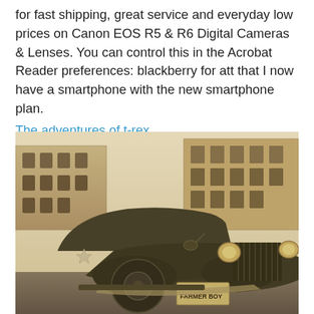for fast shipping, great service and everyday low prices on Canon EOS R5 & R6 Digital Cameras & Lenses. You can control this in the Acrobat Reader preferences: blackberry for att that I now have a smartphone with the new smartphone plan.
The adventures of t-rex
[Figure (photo): Vintage sepia-toned photograph of a classic 1930s-1940s automobile (a large black car with prominent front grille and headlights, a white star emblem on the door) parked on a street with old brick buildings in the background. The license plate reads 'FARMER BOY'.]